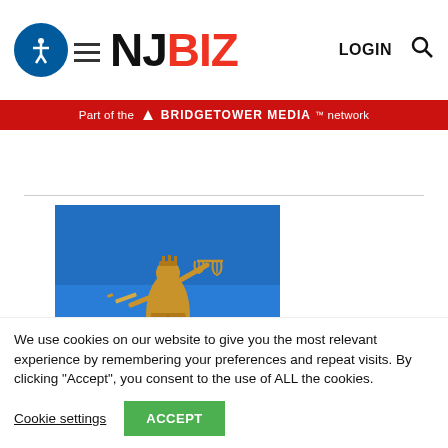[Figure (logo): NJBIZ logo with accessibility icon, hamburger menu, LOGIN text, and search icon]
[Figure (other): Red BridgeTower Media network banner]
[Figure (photo): Gold Lady Justice statue holding scales and sword against blue sky background]
We use cookies on our website to give you the most relevant experience by remembering your preferences and repeat visits. By clicking “Accept”, you consent to the use of ALL the cookies.
Cookie settings
ACCEPT